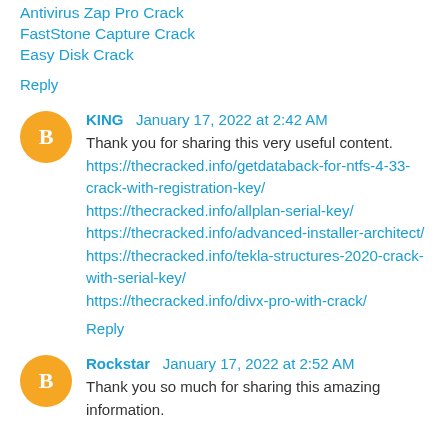Antivirus Zap Pro Crack
FastStone Capture Crack
Easy Disk Crack
Reply
KING  January 17, 2022 at 2:42 AM
Thank you for sharing this very useful content.
https://thecracked.info/getdataback-for-ntfs-4-33-crack-with-registration-key/
https://thecracked.info/allplan-serial-key/
https://thecracked.info/advanced-installer-architect/
https://thecracked.info/tekla-structures-2020-crack-with-serial-key/
https://thecracked.info/divx-pro-with-crack/
Reply
Rockstar  January 17, 2022 at 2:52 AM
Thank you so much for sharing this amazing information.